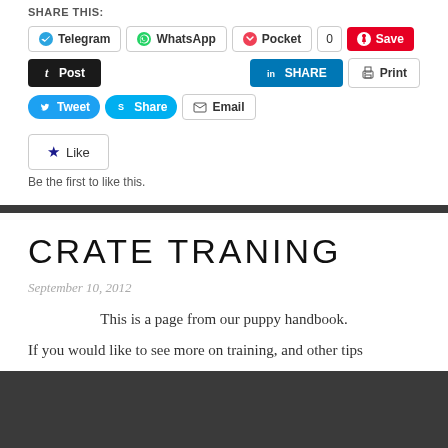SHARE THIS:
[Figure (screenshot): Social sharing buttons row 1: Telegram, WhatsApp, Pocket (with count 0), Save (Pinterest)]
[Figure (screenshot): Social sharing buttons row 2: Post (Tumblr), SHARE (LinkedIn), Print]
[Figure (screenshot): Social sharing buttons row 3: Tweet, Share (Skype), Email]
[Figure (screenshot): Like button widget]
Be the first to like this.
CRATE TRANING
September 10, 2012
This is a page from our puppy handbook.
If you would like to see more on training, and other tips